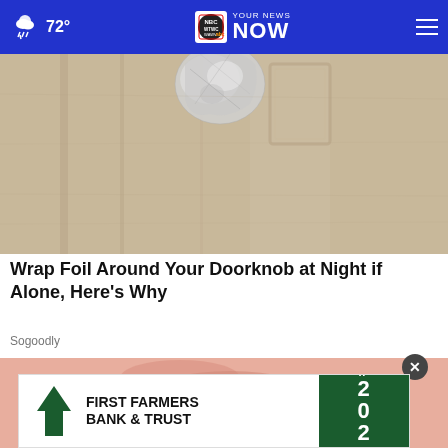72° YOUR NEWS NOW — WTWC WAWV NBC
[Figure (photo): Close-up photo of a door knob wrapped in aluminum foil on a beige wooden door]
Wrap Foil Around Your Doorknob at Night if Alone, Here's Why
Sogoodly
[Figure (photo): Close-up photo of a person's hand near a circular object, partially obscured by ad banner]
[Figure (logo): First Farmers Bank & Trust advertisement banner with WHAT IF 2022 green block on right side]